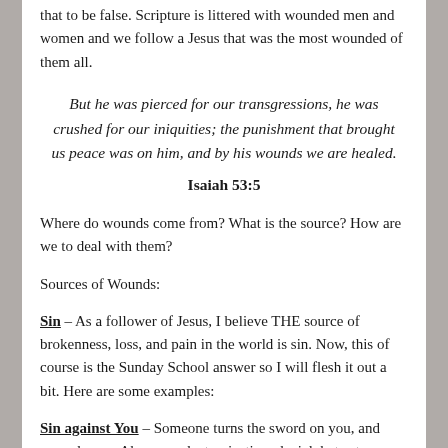that to be false. Scripture is littered with wounded men and women and we follow a Jesus that was the most wounded of them all.
But he was pierced for our transgressions, he was crushed for our iniquities; the punishment that brought us peace was on him, and by his wounds we are healed.
Isaiah 53:5
Where do wounds come from? What is the source? How are we to deal with them?
Sources of Wounds:
Sin – As a follower of Jesus, I believe THE source of brokenness, loss, and pain in the world is sin. Now, this of course is the Sunday School answer so I will flesh it out a bit. Here are some examples:
Sin against You – Someone turns the sword on you, and wounds you. Abuse, neglect, rejection, denial, hate etc.